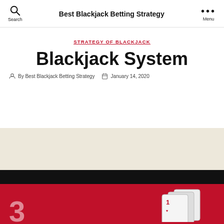Best Blackjack Betting Strategy
STRATEGY OF BLACKJACK
Blackjack System
By Best Blackjack Betting Strategy   January 14, 2020
[Figure (photo): Photo of playing cards on a red blackjack table surface, showing partial card numbers and card backs]